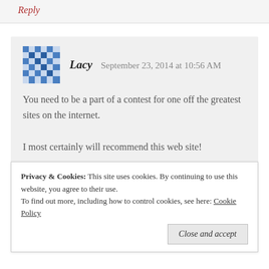Reply
[Figure (illustration): Blue mosaic/quilt pattern avatar icon]
Lacy   September 23, 2014 at 10:56 AM
You need to be a part of a contest for one off the greatest sites on the internet.
I most certainly will recommend this web site!
★ Like
Reply
Privacy & Cookies:  This site uses cookies. By continuing to use this website, you agree to their use.
To find out more, including how to control cookies, see here: Cookie Policy
Close and accept